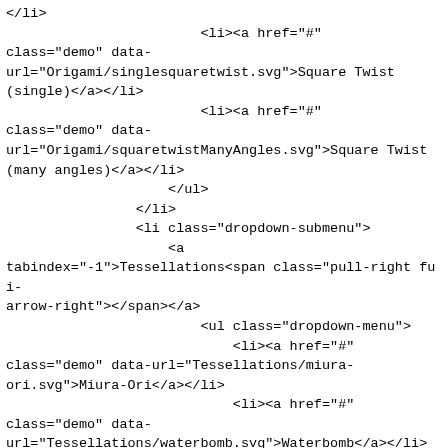</li>
                        <li><a href="#"
class="demo" data-url="Origami/singlesquaretwist.svg">Square Twist (single)</a></li>
                        <li><a href="#"
class="demo" data-url="Origami/squaretwistManyAngles.svg">Square Twist (many angles)</a></li>
                    </ul>
                </li>
                <li class="dropdown-submenu">
                    <a
tabindex="-1">Tessellations<span class="pull-right fui-arrow-right"></span></a>
                        <ul class="dropdown-menu">
                            <li><a href="#"
class="demo" data-url="Tessellations/miura-ori.svg">Miura-Ori</a></li>
                            <li><a href="#"
class="demo" data-url="Tessellations/waterbomb.svg">Waterbomb</a></li>
                            <li class="divider"></li>
                            <li><a href="#"
class="demo" data-url="Tessellations/huffmanExtrudedBoxes.svg">Huffman Extruded Boxes</a></li>
                            <li><a href="#"
class="demo" data-url="Tessellations/huffmanWaterbomb.svg">Huffman Waterbomb</a></li>